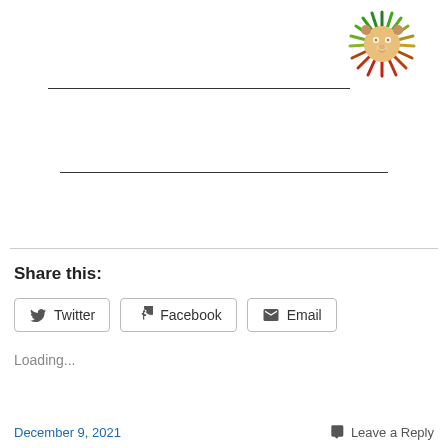[Figure (logo): Colorful lion head logo with green, yellow, and red mane in reggae style]
Share this:
Twitter  Facebook  Email
Loading...
December 9, 2021    Leave a Reply